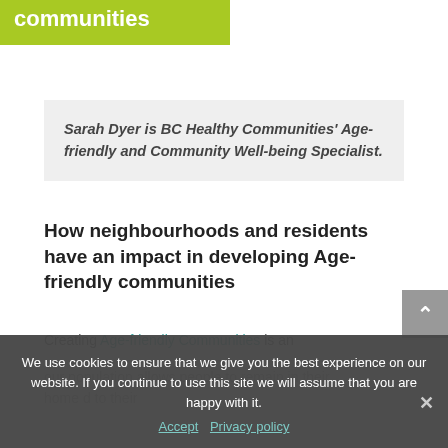communities
Sarah Dyer is BC Healthy Communities' Age-friendly and Community Well-being Specialist.
How neighbourhoods and residents have an impact in developing Age-friendly communities
Creating Age-friendly Communities is an our population allows people to remain in their home and to their
We use cookies to ensure that we give you the best experience on our website. If you continue to use this site we will assume that you are happy with it.
Accept  Privacy policy